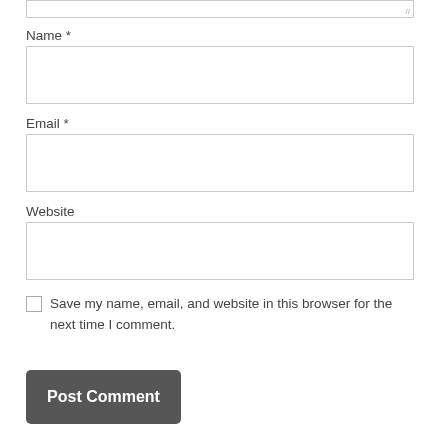[Figure (screenshot): Top portion of a textarea input field with a resize handle indicator in the bottom-right corner]
Name *
[Figure (screenshot): Empty text input field for Name]
Email *
[Figure (screenshot): Empty text input field for Email]
Website
[Figure (screenshot): Empty text input field for Website]
Save my name, email, and website in this browser for the next time I comment.
[Figure (screenshot): Post Comment button, dark gray rounded rectangle]